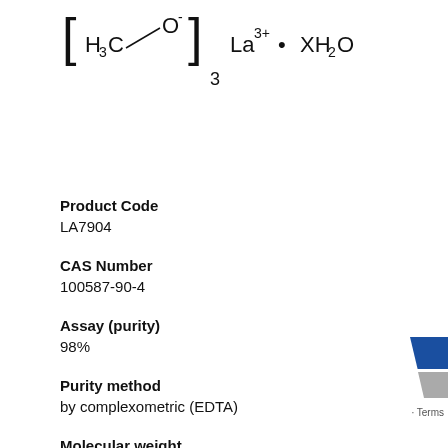[Figure (schematic): Chemical structure of Lanthanum acetate hydrate: [H3C-O-]3 La3+ · XH2O drawn as a structural formula with bracket notation]
Product Code
LA7904
CAS Number
100587-90-4
Assay (purity)
98%
Purity method
by complexometric (EDTA)
Molecular weight
316.04